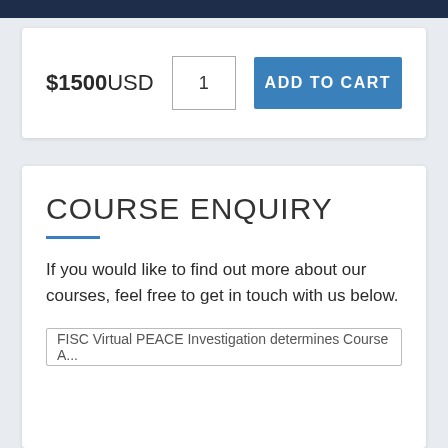$1500USD  1  ADD TO CART
COURSE ENQUIRY
If you would like to find out more about our courses, feel free to get in touch with us below.
FISC Virtual PEACE Investigation determines Course...